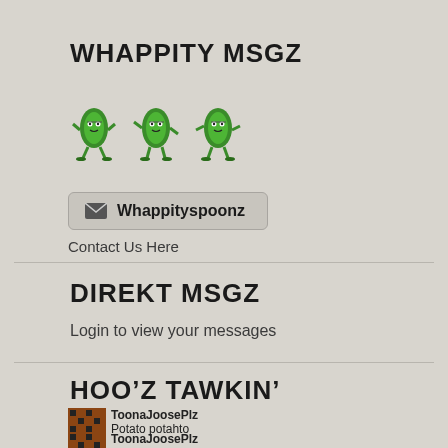WHAPPITY MSGZ
[Figure (illustration): Three animated pixel-art dancing pickle characters in a row]
✉ Whappityspoonz  Contact Us Here
DIREKT MSGZ
Login to view your messages
HOO'Z TAWKIN'
ToonaJoosePlz  Potato potahto
ToonaJoosePlz  Say "Blue-footed-boobie-booblings!"
JuneyB  Say "Blue-footed-boobie-booblings!"